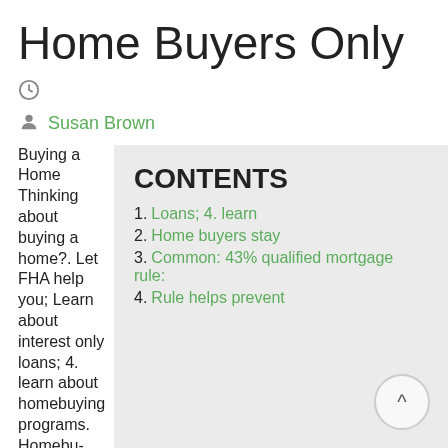Home Buyers Only
Susan Brown
Buying a Home Thinking about buying a home?. Let FHA help you; Learn about interest only loans; 4. learn about homebuying programs. Homebuying programs in your state; Let FHA help you (FHA loan
CONTENTS
1. Loans; 4. learn
2. Home buyers stay
3. Common: 43% qualified mortgage rule:
4. Rule helps prevent